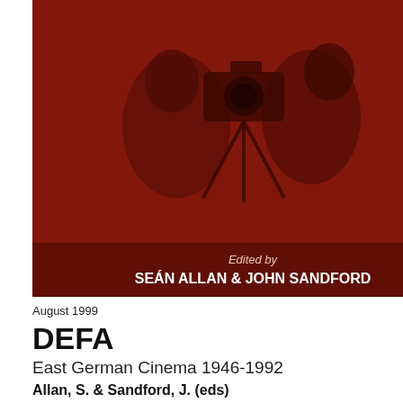[Figure (photo): Book cover with dark red/brown toned image of two people near a film camera, with text 'Edited by SEÁN ALLAN & JOHN SANDFORD' at the bottom]
August 1999
DEFA
East German Cinema 1946-1992
Allan, S. & Sandford, J. (eds)
Western scholars have not lost any of their fascination for East German culture. Cinema in particular continues to attract interest. This volume, the first one in English, traces the development of the main institution, the state-sponsored Deutsche Film Anstalt (DEFA), which was primarily responsible for film production in the former GDR from 1946, ceasing to exist in 1992. Although largely ignored outside the former GDR, the DEFA produced anumber of excellent films and scriptwriters that are examined here for the first time. This volume analyzes the